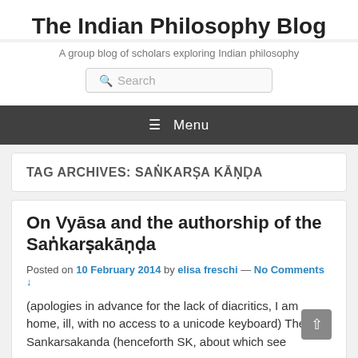The Indian Philosophy Blog
A group blog of scholars exploring Indian philosophy
Menu
TAG ARCHIVES: SAṄKARṢA KĀṆḌA
On Vyāsa and the authorship of the Saṅkarṣakāṇḍa
Posted on 10 February 2014 by elisa freschi — No Comments ↓
(apologies in advance for the lack of diacritics, I am home, ill, with no access to a unicode keyboard) The Sankarsakanda (henceforth SK, about which see